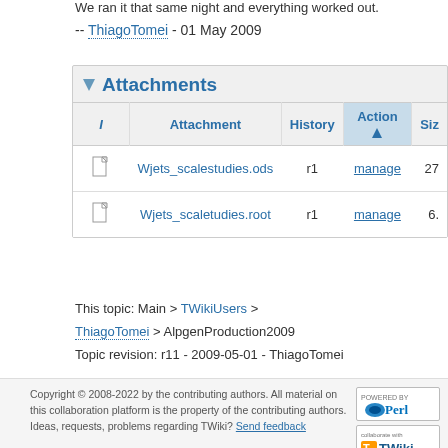We ran it that same night and everything worked out.
-- ThiagoTomei - 01 May 2009
| I | Attachment | History | Action | Siz |
| --- | --- | --- | --- | --- |
| [icon] | Wjets_scalestudies.ods | r1 | manage | 27 |
| [icon] | Wjets_scaletudies.root | r1 | manage | 6. |
This topic: Main > TWikiUsers > ThiagoTomei > AlpgenProduction2009
Topic revision: r11 - 2009-05-01 - ThiagoTomei
Copyright © 2008-2022 by the contributing authors. All material on this collaboration platform is the property of the contributing authors. Ideas, requests, problems regarding TWiki? Send feedback